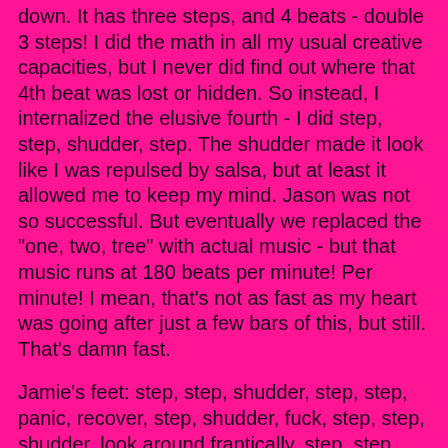down. It has three steps, and 4 beats - double 3 steps! I did the math in all my usual creative capacities, but I never did find out where that 4th beat was lost or hidden. So instead, I internalized the elusive fourth - I did step, step, shudder, step. The shudder made it look like I was repulsed by salsa, but at least it allowed me to keep my mind. Jason was not so successful. But eventually we replaced the "one, two, tree" with actual music - but that music runs at 180 beats per minute! Per minute! I mean, that's not as fast as my heart was going after just a few bars of this, but still. That's damn fast.
Jamie's feet: step, step, shudder, step, step, panic, recover, step, shudder, fuck, step, step, shudder, look around frantically, step, step, shudder, shudder, give up completely.
Jason's feet: clonk, clump, trip, trip, stop.
And that's the "basic step." Soon we were moving on to more advanced techniques.
First we learned the underarm turn - where sexily, I get to "flow" clockwise under Jason's armpit - you know, the one...